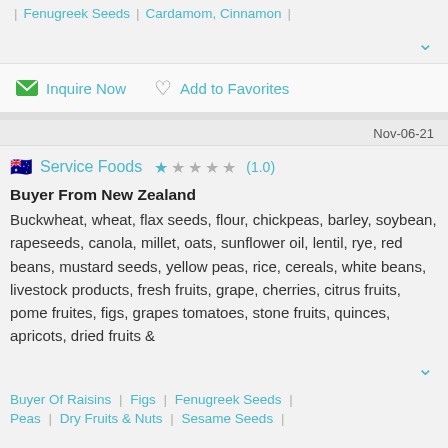| Fenugreek Seeds | Cardamom, Cinnamon |
Inquire Now   Add to Favorites
Nov-06-21
Service Foods ★ ★ ★ ★ ★ (1.0)
Buyer From New Zealand
Buckwheat, wheat, flax seeds, flour, chickpeas, barley, soybean, rapeseeds, canola, millet, oats, sunflower oil, lentil, rye, red beans, mustard seeds, yellow peas, rice, cereals, white beans, livestock products, fresh fruits, grape, cherries, citrus fruits, pome fruites, figs, grapes tomatoes, stone fruits, quinces, apricots, dried fruits &
Buyer Of Raisins | Figs | Fenugreek Seeds | Peas | Dry Fruits & Nuts | Sesame Seeds |